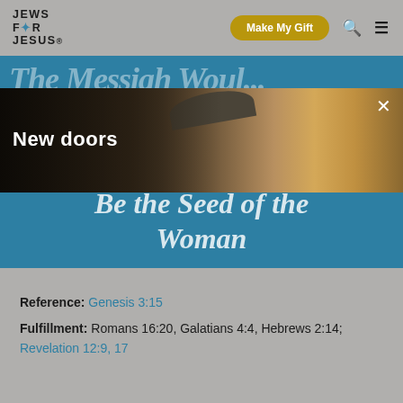[Figure (screenshot): Jews for Jesus website screenshot showing organization logo, Make My Gift button, search and menu icons in a gray header, followed by a teal/blue banner with large italic serif text partially behind a photo overlay of a man wearing a flat cap, with 'New doors' text overlaid on the photo and a close (×) button, and the main article title 'Be the Seed of the Woman' in large italic white text on the blue background.]
Reference: Genesis 3:15
Fulfillment: Romans 16:20, Galatians 4:4, Hebrews 2:14; Revelation 12:9, 17